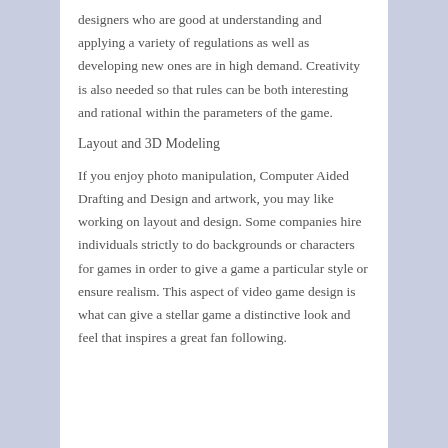designers who are good at understanding and applying a variety of regulations as well as developing new ones are in high demand. Creativity is also needed so that rules can be both interesting and rational within the parameters of the game.
Layout and 3D Modeling
If you enjoy photo manipulation, Computer Aided Drafting and Design and artwork, you may like working on layout and design. Some companies hire individuals strictly to do backgrounds or characters for games in order to give a game a particular style or ensure realism. This aspect of video game design is what can give a stellar game a distinctive look and feel that inspires a great fan following.